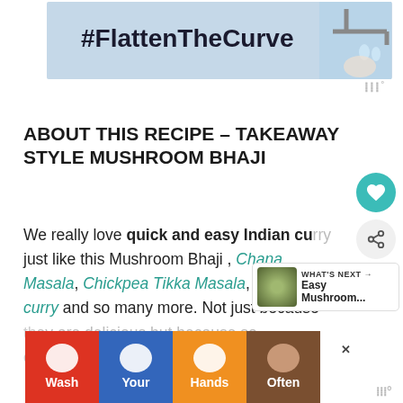[Figure (infographic): Top advertisement banner with #FlattenTheCurve text and faucet/hand-washing image, light blue background]
[Figure (logo): WW logo (three Ws with degree symbol) watermark top right]
ABOUT THIS RECIPE – TAKEAWAY STYLE MUSHROOM BHAJI
We really love quick and easy Indian curry just like this Mushroom Bhaji , Chana Masala, Chickpea Tikka Masala, T... curry and so many more. Not just because th... so co...
[Figure (infographic): WHAT'S NEXT panel with Easy Mushroom... text and food thumbnail]
[Figure (infographic): Bottom advertisement banner with Wash Your Hands Often hand-washing campaign in multiple colored segments]
[Figure (logo): WW logo (three Ws with degree symbol) watermark bottom right]